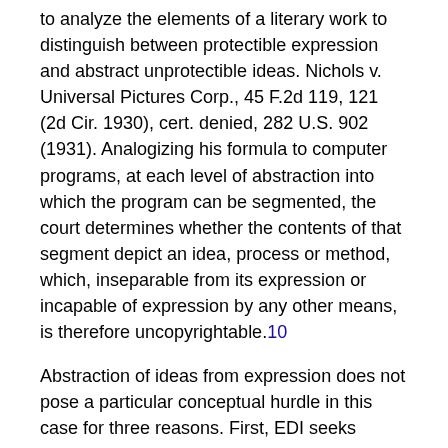to analyze the elements of a literary work to distinguish between protectible expression and abstract unprotectible ideas. Nichols v. Universal Pictures Corp., 45 F.2d 119, 121 (2d Cir. 1930), cert. denied, 282 U.S. 902 (1931). Analogizing his formula to computer programs, at each level of abstraction into which the program can be segmented, the court determines whether the contents of that segment depict an idea, process or method, which, inseparable from its expression or incapable of expression by any other means, is therefore uncopyrightable.10
Abstraction of ideas from expression does not pose a particular conceptual hurdle in this case for three reasons. First, EDI seeks copyright protection not of its entire suite of SACS programs but only of approximately 230 input-output formats that comprise the user interface. The user interface is analytically distinct from other parts of the program. See Ogilvie, supra note 10, 19 Mich. L. Rev. at 542 n. 73. Second, EDI claimed protection of input and output formats not individually but en masse. It is thus